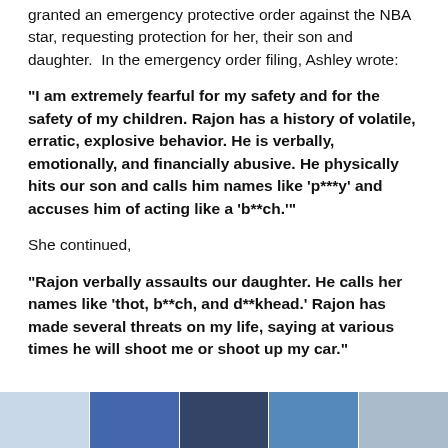granted an emergency protective order against the NBA star, requesting protection for her, their son and daughter.  In the emergency order filing, Ashley wrote:
“I am extremely fearful for my safety and for the safety of my children. Rajon has a history of volatile, erratic, explosive behavior. He is verbally, emotionally, and financially abusive. He physically hits our son and calls him names like ‘p***y’ and accuses him of acting like a ‘b**ch.’”
She continued,
“Rajon verbally assaults our daughter. He calls her names like ‘thot, b**ch, and d**khead.’ Rajon has made several threats on my life, saying at various times he will shoot me or shoot up my car.”
[Figure (photo): A strip of photos at the bottom of the page showing what appears to be indoor scenes with blue/purple lighting.]